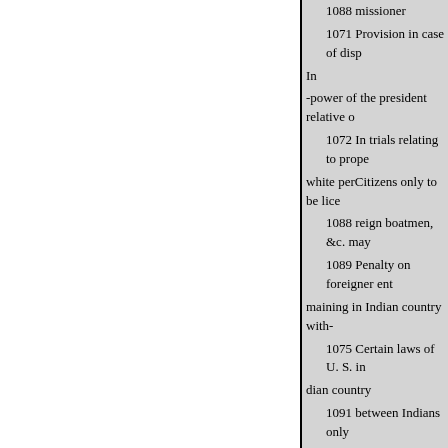1088 missioner
1071 Provision in case of disp In
-power of the president relative o
1072 In trials relating to prope white perCitizens only to be lice
1088 reign boatmen, &c. may
1089 Penalty on foreigner ent maining in Indian country with-
1075 Certain laws of U. S. in dian country
1091 between Indians only
1076 Offenders against this ac country 1092 forbidden to perso
1093 Indians
1077 Proceedings in case of se
1094 Indian lands 1078 Certai